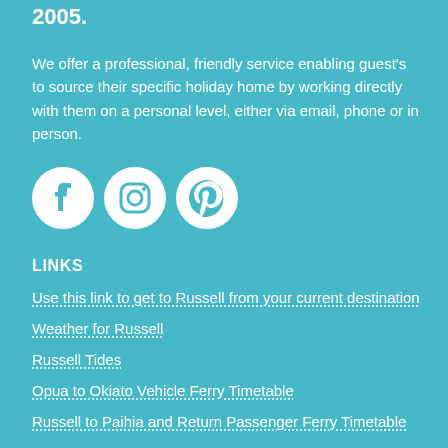2005.
We offer a professional, friendly service enabling guest's to source their specific holiday home by working directly with them on a personal level, either via email, phone or in person.
[Figure (illustration): Three white social media icons on teal background: Facebook, Instagram, Pinterest]
LINKS
Use this link to get to Russell from your current destination
Weather for Russell
Russell Tides
Opua to Okiato Vehicle Ferry Timetable
Russell to Paihia and Return Passenger Ferry Timetable